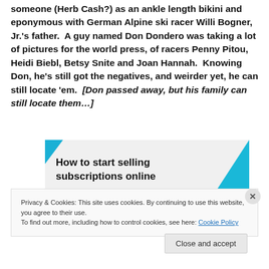someone (Herb Cash?) as an ankle length bikini and eponymous with German Alpine ski racer Willi Bogner, Jr.'s father.  A guy named Don Dondero was taking a lot of pictures for the world press, of racers Penny Pitou, Heidi Biebl, Betsy Snite and Joan Hannah.  Knowing Don, he's still got the negatives, and weirder yet, he can still locate 'em.  [Don passed away, but his family can still locate them…]
[Figure (other): Advertisement banner: 'How to start selling subscriptions online' with teal/cyan decorative shapes]
Privacy & Cookies: This site uses cookies. By continuing to use this website, you agree to their use.
To find out more, including how to control cookies, see here: Cookie Policy
Close and accept